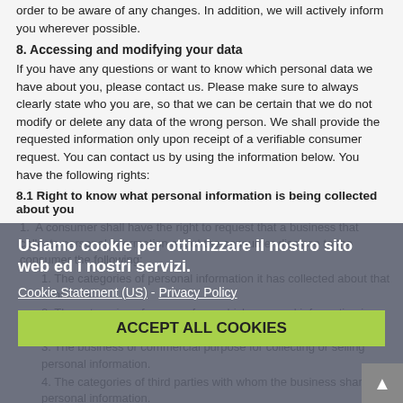order to be aware of any changes. In addition, we will actively inform you wherever possible.
8. Accessing and modifying your data
If you have any questions or want to know which personal data we have about you, please contact us. Please make sure to always clearly state who you are, so that we can be certain that we do not modify or delete any data of the wrong person. We shall provide the requested information only upon receipt of a verifiable consumer request. You can contact us by using the information below. You have the following rights:
8.1 Right to know what personal information is being collected about you
A consumer shall have the right to request that a business that collects personal information about the consumer disclose to the consumer the following:
1. The categories of personal information it has collected about that consumer.
2. The categories of sources from which personal information is collected.
3. The business or commercial purpose for collecting or selling personal information.
4. The categories of third parties with whom the business shares personal information.
5. The specific pieces of personal information it has collected
Usiamo cookie per ottimizzare il nostro sito web ed i nostri servizi.
Cookie Statement (US) - Privacy Policy
ACCEPT ALL COOKIES